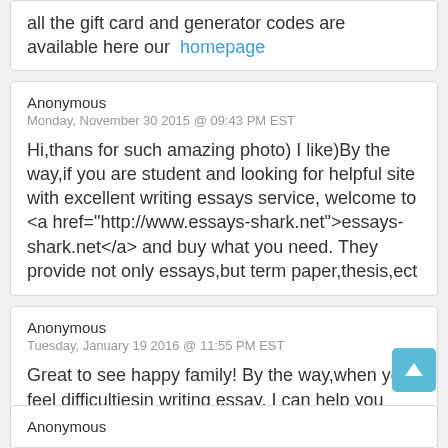all the gift card and generator codes are available here our  homepage
Anonymous
Monday, November 30 2015 @ 09:43 PM EST
Hi,thans for such amazing photo) I like)By the way,if you are student and looking for helpful site with excellent writing essays service, welcome to <a href="http://www.essays-shark.net">essays-shark.net</a> and buy what you need. They provide not only essays,but term paper,thesis,ect
Anonymous
Tuesday, January 19 2016 @ 11:55 PM EST
Great to see happy family! By the way,when you feel difficultiesin writing essay, I can help you then. Just contact to http://primewritings.net/ and the the result.
Anonymous